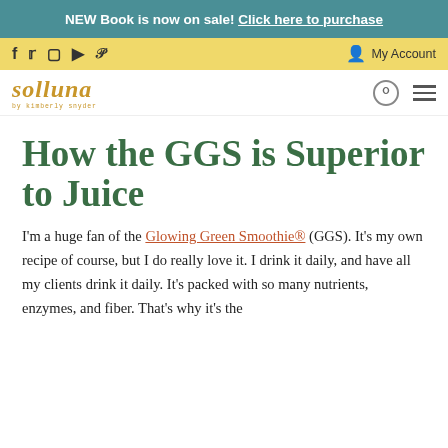NEW Book is now on sale! Click here to purchase
f  Twitter  Instagram  YouTube  Pinterest    My Account
solluna by kimberly snyder
How the GGS is Superior to Juice
I'm a huge fan of the Glowing Green Smoothie® (GGS). It's my own recipe of course, but I do really love it. I drink it daily, and have all my clients drink it daily. It's packed with so many nutrients, enzymes, and fiber. That's why it's the